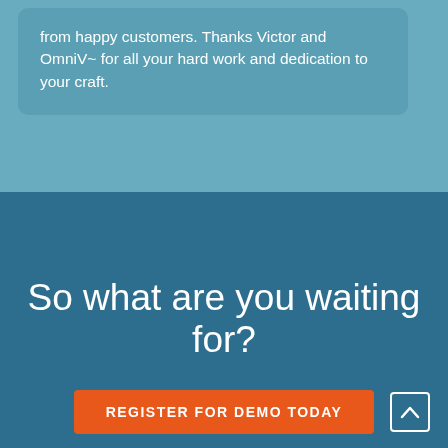from happy customers. Thanks Victor and OmniV~ for all your hard work and dedication to your craft.
So what are you waiting for?
REGISTER FOR DEMO TODAY